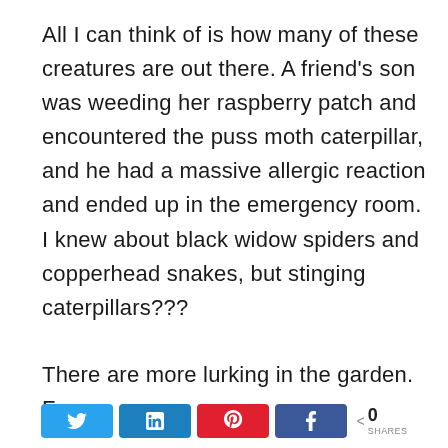All I can think of is how many of these creatures are out there. A friend's son was weeding her raspberry patch and encountered the puss moth caterpillar, and he had a massive allergic reaction and ended up in the emergency room. I knew about black widow spiders and copperhead snakes, but stinging caterpillars???
There are more lurking in the garden.  For
[Figure (other): Social share bar with Twitter, LinkedIn, Pinterest, and Facebook buttons, plus a share count showing 0 SHARES]